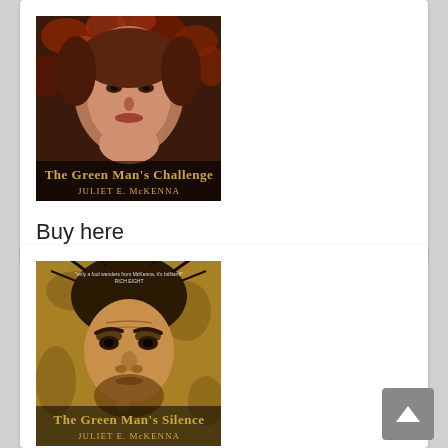[Figure (illustration): Book cover for 'The Green Man's Challenge' by Juliet E. McKenna, showing a woman's face surrounded by autumn leaves in dark red/brown tones]
Buy here
[Figure (illustration): Book cover for 'The Green Man's Silence' by Juliet E. McKenna, showing a wild-haired old man with a finger to his lips in sepia tones]